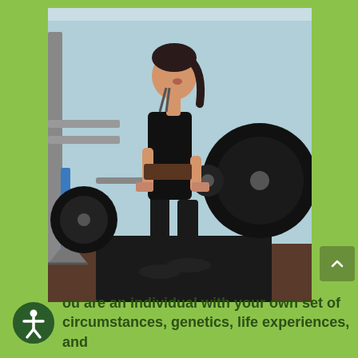[Figure (photo): A woman in black workout clothes and a weightlifting belt performing a deadlift with a loaded barbell in a gym setting with blue walls and weight racks visible in the background.]
you are an individual with your own set of circumstances, genetics, life experiences, and